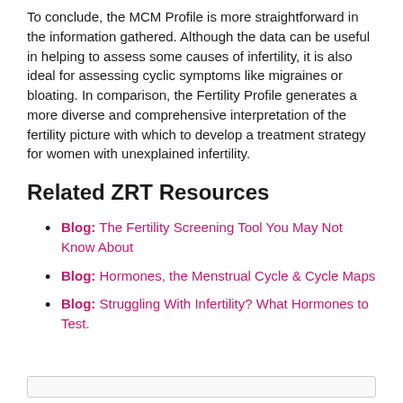To conclude, the MCM Profile is more straightforward in the information gathered. Although the data can be useful in helping to assess some causes of infertility, it is also ideal for assessing cyclic symptoms like migraines or bloating. In comparison, the Fertility Profile generates a more diverse and comprehensive interpretation of the fertility picture with which to develop a treatment strategy for women with unexplained infertility.
Related ZRT Resources
Blog: The Fertility Screening Tool You May Not Know About
Blog: Hormones, the Menstrual Cycle & Cycle Maps
Blog: Struggling With Infertility? What Hormones to Test.